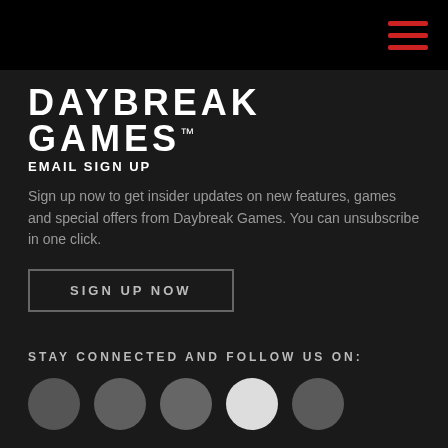Daybreak Games — Navigation menu (hamburger icon)
DAYBREAK GAMES™
EMAIL SIGN UP
Sign up now to get insider updates on new features, games and special offers from Daybreak Games. You can unsubscribe in one click.
SIGN UP NOW
STAY CONNECTED AND FOLLOW US ON:
[Figure (illustration): Five social media icon circles in a row: dark grey, medium grey, medium-dark grey, light/white, and grey]
DAYBREAK ACCOUNT
Create an Account
Account Management